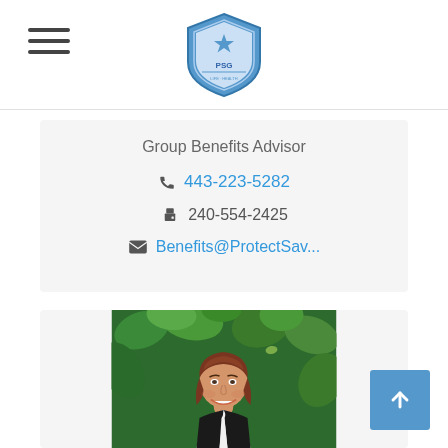[Figure (logo): PSG shield logo in blue and grey]
Group Benefits Advisor
443-223-5282
240-554-2425
Benefits@ProtectSav...
[Figure (photo): Professional headshot of a young woman with auburn hair, smiling, wearing a black blazer and white top, standing in front of green foliage]